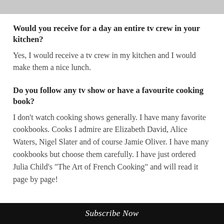[Figure (photo): Faded gray image at the top of the page]
Would you receive for a day an entire tv crew in your kitchen?
Yes, I would receive a tv crew in my kitchen and I would make them a nice lunch.
Do you follow any tv show or have a favourite cooking book?
I don't watch cooking shows generally. I have many favorite cookbooks. Cooks I admire are Elizabeth David, Alice Waters, Nigel Slater and of course Jamie Oliver. I have many cookbooks but choose them carefully. I have just ordered Julia Child's “The Art of French Cooking” and will read it page by page!
Subscribe Now